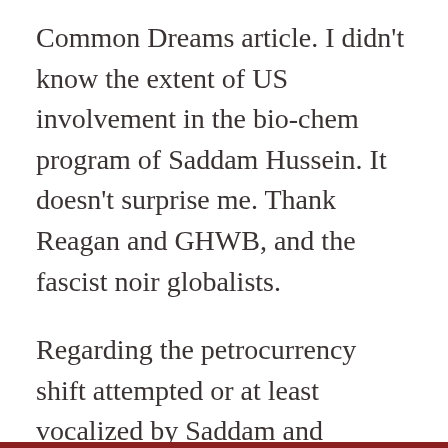Common Dreams article. I didn't know the extent of US involvement in the bio-chem program of Saddam Hussein. It doesn't surprise me. Thank Reagan and GHWB, and the fascist noir globalists.
Regarding the petrocurrency shift attempted or at least vocalized by Saddam and Muammar Gaddafi in proximity to the US attacking